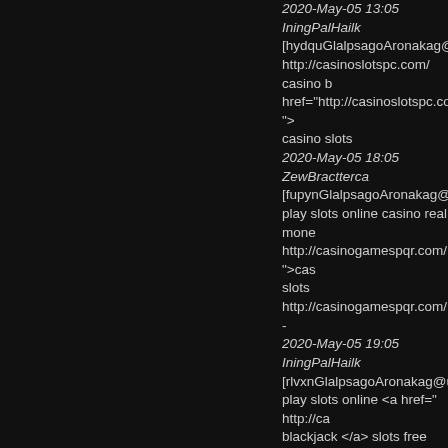2020-May-05 13:05 IningPalHailk [hydquGlalpsagoAronakag@ubiq http://casinoslotspc.com/ casino b href="http://casinoslotspc.com/ "> casino slots
2020-May-05 18:05 ZewBractterca [fupynGlalpsagoAronakag@xrecru play slots online casino real mone http://casinogamespqr.com/ ">cas slots http://casinogamespqr.com/ -
2020-May-05 19:05 IningPalHailk [rlvxnGlalpsagoAronakag@ubiquit play slots online <a href=" http://ca blackjack </a> slots free
2020-May-06 01:05 ZewBractterca [brgjsGlalpsagoAronakag@xrecru casino play <a href=" http://casino </a> gold fish casino slots
2020-May-06 02:05 IningPalHailk [igbdnGlalpsagoAronakag@ubiqui http://casinoslotspc.com/ casino o casino bonus codes <a href="http: slots </a>
2020-May-06 07:05 ZewBractterca [nfijhGlalpsagoAronakag@xrecrui casino blackjack http://casinogame real money online casino real mor
2020-May-06 08:05 IningPalHailk [ywediGlalpsagoAronakag@ubiqui slots online http://casinoslotspc.co money <a href="http://casinoslotsp play online casino